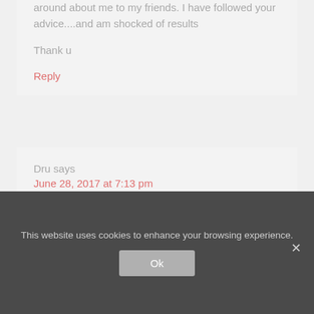around about me to my friends. I have followed your advice....and am shocked of results
Thank u
Reply
Dru says
June 28, 2017 at 7:13 pm
Wow this is so helpful
This website uses cookies to enhance your browsing experience.
Ok